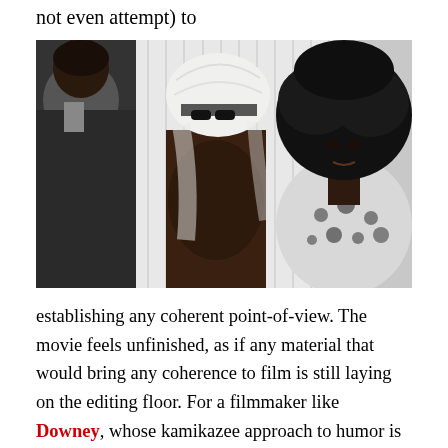not even attempt) to
[Figure (photo): Black and white photograph of three people: a man in a dark suit on the left seen from behind, a shirtless man in the center wearing a white head wrap and sunglasses, and a woman on the right with a large afro hairstyle wearing a spotted/leopard print top.]
establishing any coherent point-of-view. The movie feels unfinished, as if any material that would bring any coherence to film is still laying on the editing floor. For a filmmaker like Downey, whose kamikazee approach to humor is wielded as a counterculture truncheon, the success of the comedy is in the cultural bullying of the